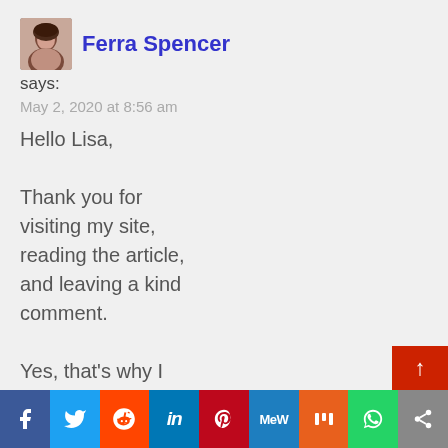Ferra Spencer
says:
May 2, 2020 at 8:56 am
Hello Lisa,

Thank you for visiting my site, reading the article, and leaving a kind comment.

Yes, that's why I created this site so I
[Figure (infographic): Social media sharing bar with icons: Facebook, Twitter, Reddit, LinkedIn, Pinterest, MeWe, Mix, WhatsApp, Share]
[Figure (other): Scroll to top button (red arrow up)]